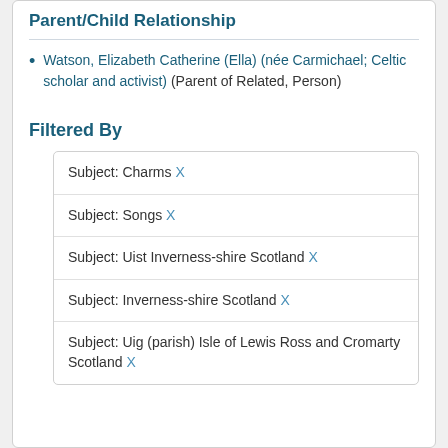Parent/Child Relationship
Watson, Elizabeth Catherine (Ella) (née Carmichael; Celtic scholar and activist) (Parent of Related, Person)
Filtered By
| Subject: Charms X |
| Subject: Songs X |
| Subject: Uist Inverness-shire Scotland X |
| Subject: Inverness-shire Scotland X |
| Subject: Uig (parish) Isle of Lewis Ross and Cromarty Scotland X |